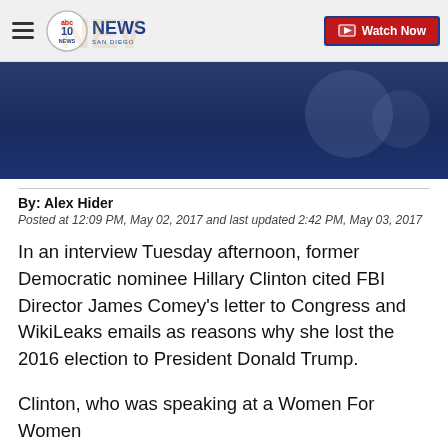10News San Diego | Watch Now
[Figure (screenshot): Dark blue hero image with circular decorative elements, partial news broadcast screenshot]
By: Alex Hider
Posted at 12:09 PM, May 02, 2017 and last updated 2:42 PM, May 03, 2017
In an interview Tuesday afternoon, former Democratic nominee Hillary Clinton cited FBI Director James Comey's letter to Congress and WikiLeaks emails as reasons why she lost the 2016 election to President Donald Trump.
Clinton, who was speaking at a Women For Women